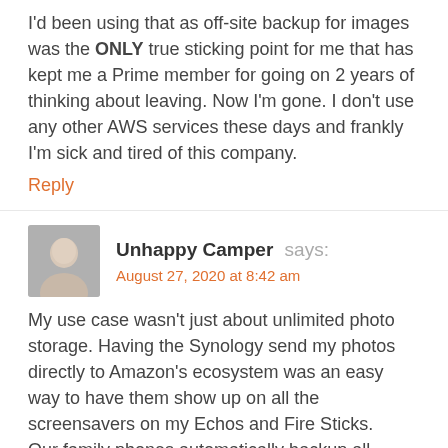I'd been using that as off-site backup for images was the ONLY true sticking point for me that has kept me a Prime member for going on 2 years of thinking about leaving. Now I'm gone. I don't use any other AWS services these days and frankly I'm sick and tired of this company.
Reply
Unhappy Camper says:
August 27, 2020 at 8:42 am
My use case wasn't just about unlimited photo storage. Having the Synology send my photos directly to Amazon's ecosystem was an easy way to have them show up on all the screensavers on my Echos and Fire Sticks.
Our family phones automatically backup all photos to the Synology rather than Google. I can edit/manipulate/utilize the photos on the NAS and then have them sent to Amazon automagically. So much for simplicity.
Since Amazon isn't suspending the unlimited photo storage, I guess I'll just have to put together a Docker based hack on the